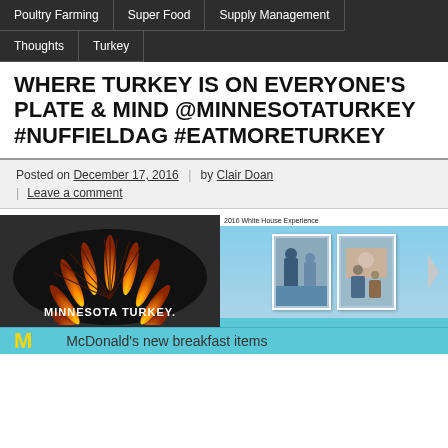Poultry Farming | Super Food | Supply Management | Thoughts | Turkey
WHERE TURKEY IS ON EVERYONE'S PLATE & MIND @MINNESOTATURKEY #NUFFIELDAG #EATMORETURKEY
Posted on December 17, 2016 | by Clair Doan | Leave a comment
[Figure (logo): Minnesota Turkey logo on black circular background]
[Figure (photo): 2016 White House Experience slide with people in photo]
McDonald's new breakfast items